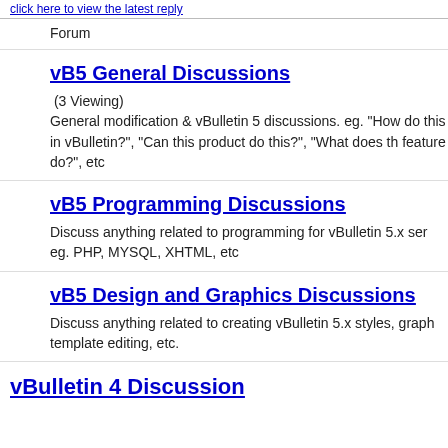click here to view the latest reply
Forum
vB5 General Discussions
(3 Viewing)
General modification & vBulletin 5 discussions. eg. "How do this in vBulletin?", "Can this product do this?", "What does th feature do?", etc
vB5 Programming Discussions
Discuss anything related to programming for vBulletin 5.x ser eg. PHP, MYSQL, XHTML, etc
vB5 Design and Graphics Discussions
Discuss anything related to creating vBulletin 5.x styles, graph template editing, etc.
vBulletin 4 Discussion